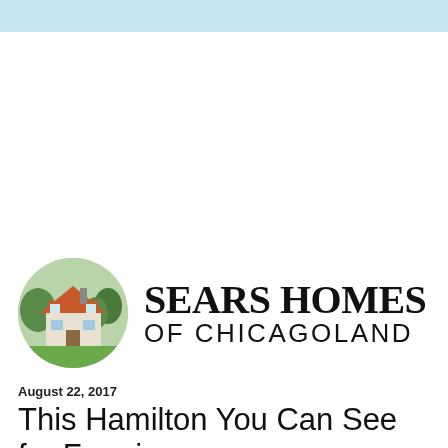[Figure (logo): Sears Homes of Chicagoland logo: circular image of a house illustration on the left, bold serif text 'SEARS HOMES' and sans-serif 'OF CHICAGOLAND' on the right]
August 22, 2017
This Hamilton You Can See for Free in